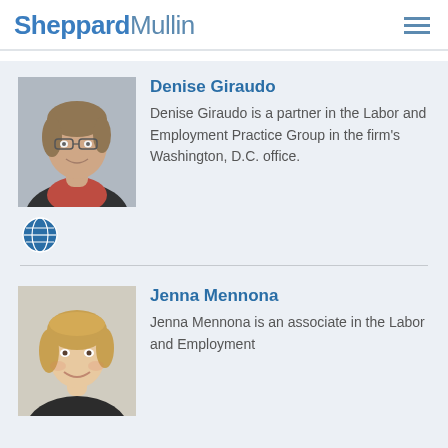SheppardMullin
[Figure (photo): Professional headshot of Denise Giraudo, a woman with short brown hair and glasses, wearing a black jacket and red top.]
Denise Giraudo
Denise Giraudo is a partner in the Labor and Employment Practice Group in the firm's Washington, D.C. office.
[Figure (illustration): Globe/world icon in blue, representing web or location link.]
[Figure (photo): Professional headshot of Jenna Mennona, a young woman with blonde hair, smiling.]
Jenna Mennona
Jenna Mennona is an associate in the Labor and Employment